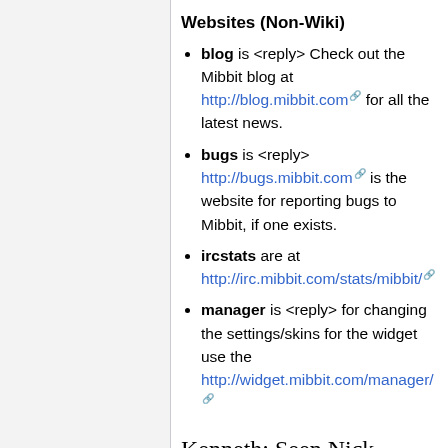Websites (Non-Wiki)
blog is <reply> Check out the Mibbit blog at http://blog.mibbit.com for all the latest news.
bugs is <reply> http://bugs.mibbit.com is the website for reporting bugs to Mibbit, if one exists.
ircstats are at http://irc.mibbit.com/stats/mibbit/
manager is <reply> for changing the settings/skins for the widget use the http://widget.mibbit.com/manager/
Kenneth: Seen Nick
A user may type the line "Kenneth: Seen Nick" replacing Nick with the nick that the user wishes to seek, and it will show the last time a user of the nick spoke a